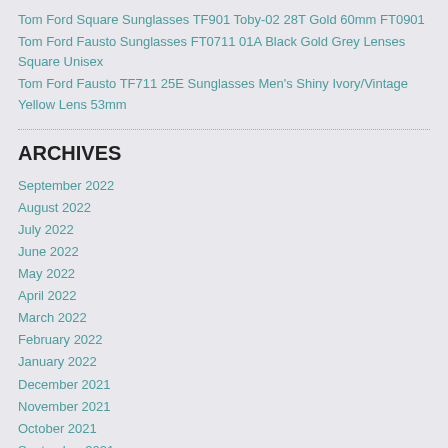Tom Ford Square Sunglasses TF901 Toby-02 28T Gold 60mm FT0901
Tom Ford Fausto Sunglasses FT0711 01A Black Gold Grey Lenses Square Unisex
Tom Ford Fausto TF711 25E Sunglasses Men's Shiny Ivory/Vintage Yellow Lens 53mm
ARCHIVES
September 2022
August 2022
July 2022
June 2022
May 2022
April 2022
March 2022
February 2022
January 2022
December 2021
November 2021
October 2021
September 2021
August 2021
July 2021